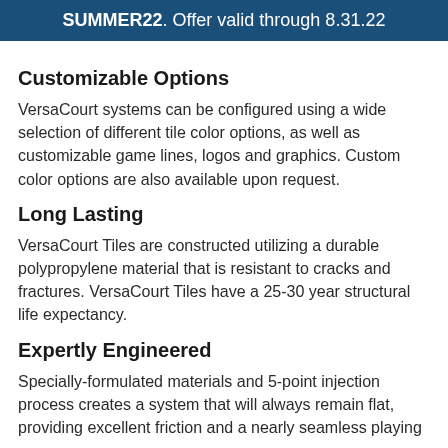SUMMER22. Offer valid through 8.31.22
Customizable Options
VersaCourt systems can be configured using a wide selection of different tile color options, as well as customizable game lines, logos and graphics. Custom color options are also available upon request.
Long Lasting
VersaCourt Tiles are constructed utilizing a durable polypropylene material that is resistant to cracks and fractures. VersaCourt Tiles have a 25-30 year structural life expectancy.
Expertly Engineered
Specially-formulated materials and 5-point injection process creates a system that will always remain flat, providing excellent friction and a nearly seamless playing